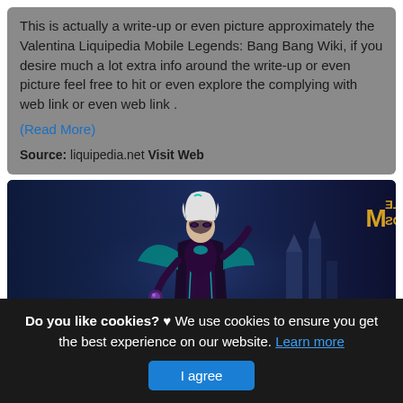This is actually a write-up or even picture approximately the Valentina Liquipedia Mobile Legends: Bang Bang Wiki, if you desire much a lot extra info around the write-up or even picture feel free to hit or even explore the complying with web link or even web link .
(Read More)
Source: liquipedia.net Visit Web
[Figure (screenshot): Mobile Legends: Bang Bang game screenshot showing the character Valentina, a dark female mage with teal and black costume, against a dark blue fantasy background. The Mobile Legends logo appears mirrored in the top right corner.]
Do you like cookies? ♥ We use cookies to ensure you get the best experience on our website. Learn more
I agree